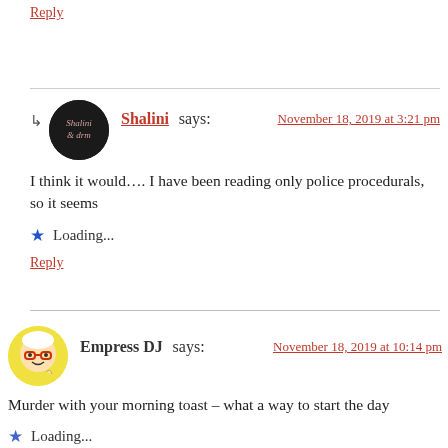Reply
Shalini says: November 18, 2019 at 3:21 pm
I think it would…. I have been reading only police procedurals, so it seems
Loading...
Reply
Empress DJ says: November 18, 2019 at 10:14 pm
Murder with your morning toast – what a way to start the day
Loading...
Reply